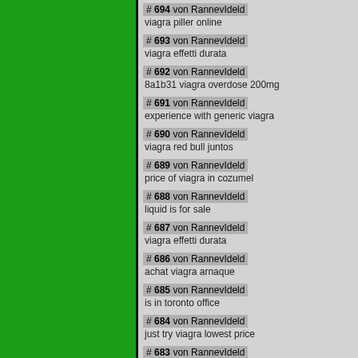# 694 von RannevIdeld
viagra piller online
# 693 von RannevIdeld
viagra effetti durata
# 692 von RannevIdeld
8a1b31 viagra overdose 200mg
# 691 von RannevIdeld
experience with generic viagra
# 690 von RannevIdeld
viagra red bull juntos
# 689 von RannevIdeld
price of viagra in cozumel
# 688 von RannevIdeld
liquid is for sale
# 687 von RannevIdeld
viagra effetti durata
# 686 von RannevIdeld
achat viagra arnaque
# 685 von RannevIdeld
is in toronto office
# 684 von RannevIdeld
just try viagra lowest price
# 683 von RannevIdeld
viagra canada online generic
# 682 von RannevIdeld